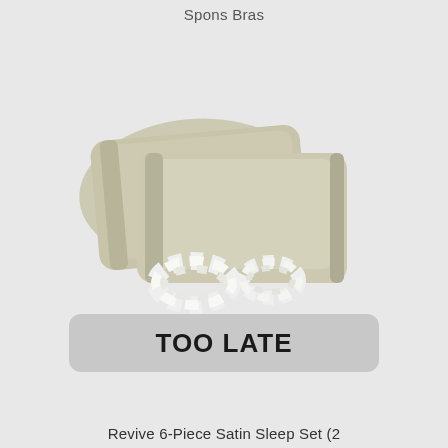Spons Bras
[Figure (photo): Two satin pillow cases in light sage/beige color stacked at an angle, with two white satin scrunchies placed in front of them.]
TOO LATE
Revive 6-Piece Satin Sleep Set (2